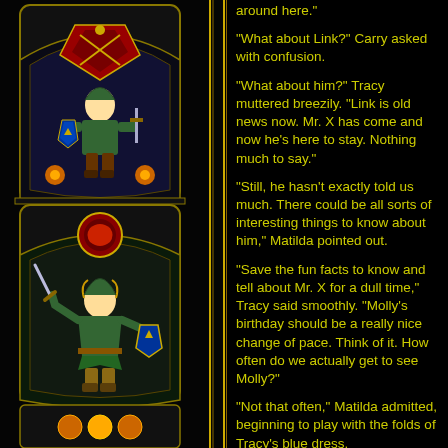[Figure (illustration): Stained glass window artwork from Legend of Zelda featuring character panels with Link and emblems in blue, red, green, and gold tones on a dark background]
around here."
"What about Link?" Carry asked with confusion.
"What about him?" Tracy muttered breezily. "Link is old news now. Mr. X has come and now he's here to stay. Nothing much to say."
"Still, he hasn't exactly told us much. There could be all sorts of interesting things to know about him," Matilda pointed out.
"Save the fun facts to know and tell about Mr. X for a dull time," Tracy said smoothly. "Molly's birthday should be a really nice change of pace. Think of it. How often do we actually get to see Molly?"
"Not that often," Matilda admitted, beginning to play with the folds of Tracy's blue dress.
"I'm positive our gift to her will be the best one she's ever gotten," Tracy continued.